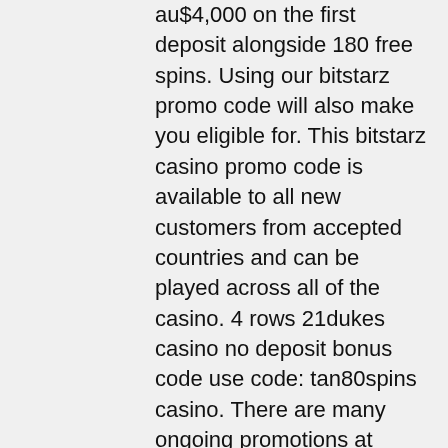au$4,000 on the first deposit alongside 180 free spins. Using our bitstarz promo code will also make you eligible for. This bitstarz casino promo code is available to all new customers from accepted countries and can be played across all of the casino. 4 rows 21dukes casino no deposit bonus code use code: tan80spins casino. There are many ongoing promotions at bitstarz like welcome bonuses, bitstarz no deposit bonus codes for existing users, day-specific rewards. Bitstarz casino bonus codes ► exclusive 30 no deposit free spins ✓ €500 match bonus + 180 extra spins ✓  play hundreds of slots for free. 19 betfair poker no deposit bonus. Bitstarz ücretsiz döndürme code, bitstarz. Your journey at bitstarz starts with a no deposit bonus of 20 free spins. This bitcoin casino also has several other promotions aimed at
 Pick your platform, choose your vice, and